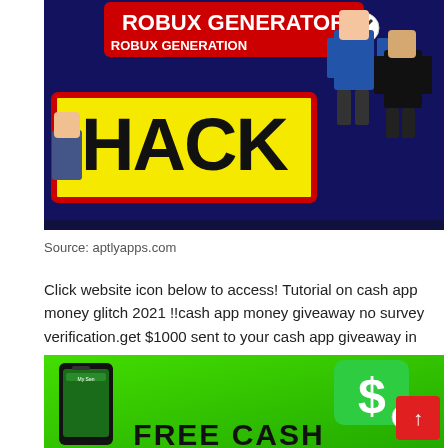[Figure (illustration): Roblox hack/generator promotional image with bold yellow 'HACK' text on red background, Roblox characters on right side, close button icon at top]
Source: aptlyapps.com
Click website icon below to access! Tutorial on cash app money glitch 2021 !!cash app money giveaway no survey verification.get $1000 sent to your cash app giveaway in 2021.
[Figure (illustration): Free Cash app promotional image with green background, smartphone showing Cash App, large green Cash App logo icon, close button icon, and 'FREE CASH' text at bottom]